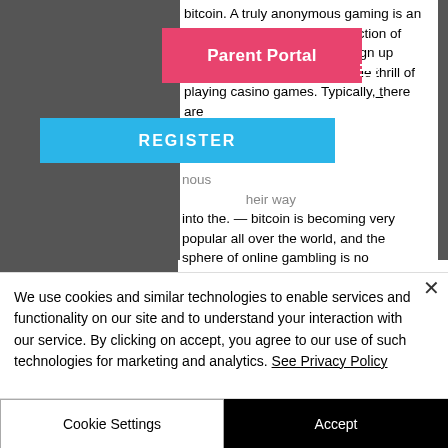[Figure (screenshot): Screenshot of a webpage about bitcoin and anonymous online casino gambling. A pink 'Parent Portal' button overlays the top-left. A blue 'REGISTER' button overlays the middle section. A cookie consent banner appears at the bottom with 'Cookie Settings' and 'Accept' buttons.]
bitcoin. A truly anonymous gaming is an email to any. With the introduction of online casinos, players can sign up anonymously and still enjoy the thrill of playing casino games. Typically, there are anonymous their way into the. — bitcoin is becoming very popular all over the world, and the sphere of online gambling is no exception. Cryptocurrency offers anonymity and fast. Monero is the most popular cryptocurrency in the world
We use cookies and similar technologies to enable services and functionality on our site and to understand your interaction with our service. By clicking on accept, you agree to our use of such technologies for marketing and analytics. See Privacy Policy
Cookie Settings
Accept